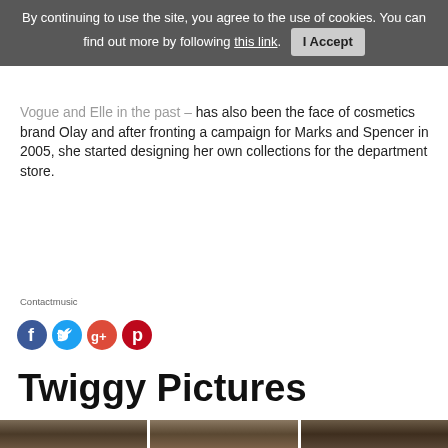By continuing to use the site, you agree to the use of cookies. You can find out more by following this link. I Accept
Vogue and Elle in the past – has also been the face of cosmetics brand Olay and after fronting a campaign for Marks and Spencer in 2005, she started designing her own collections for the department store.
Contactmusic
[Figure (other): Social media share icons: Facebook, Twitter, Google+, Pinterest]
Twiggy Pictures
[Figure (photo): Three partially visible photographs of Twiggy arranged in a row at the bottom of the page]